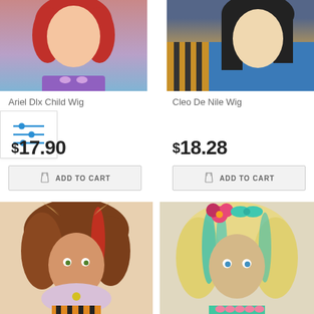[Figure (photo): Product photo of Ariel Dlx Child Wig - girl wearing red wig with purple top]
[Figure (photo): Product photo of Cleo De Nile Wig - person wearing black and gold wig with blue top]
Ariel Dlx Child Wig
Cleo De Nile Wig
[Figure (infographic): Filter/sliders icon in a white box with blue horizontal slider lines]
$17.90
$18.28
ADD TO CART
ADD TO CART
[Figure (photo): Product photo of Clawdeen Wolf wig - brown and red curly wig with animal ears worn by model in tiger stripe costume]
[Figure (photo): Product photo of Lagoona Blue wig - blonde and teal curly wig with pink flower worn by model]